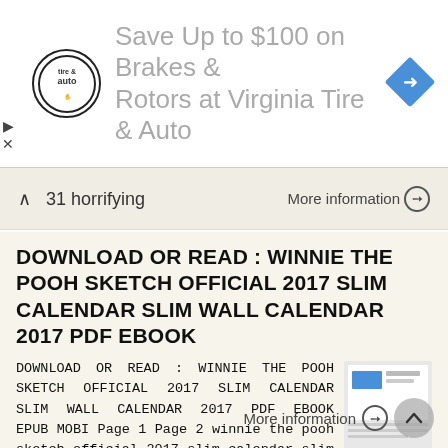[Figure (screenshot): Advertisement banner for Virginia Tire & Auto: logo on left, text 'Save Up to $100 on Brakes & Rotors at Virginia Tire & Auto', blue diamond navigation icon on right.]
31 horrifying
More information →
DOWNLOAD OR READ : WINNIE THE POOH SKETCH OFFICIAL 2017 SLIM CALENDAR SLIM WALL CALENDAR 2017 PDF EBOOK
DOWNLOAD OR READ : WINNIE THE POOH SKETCH OFFICIAL 2017 SLIM CALENDAR SLIM WALL CALENDAR 2017 PDF EBOOK EPUB MOBI Page 1 Page 2 winnie the pooh sketch official 2017 slim calendar slim wall calendar 2017
More information →